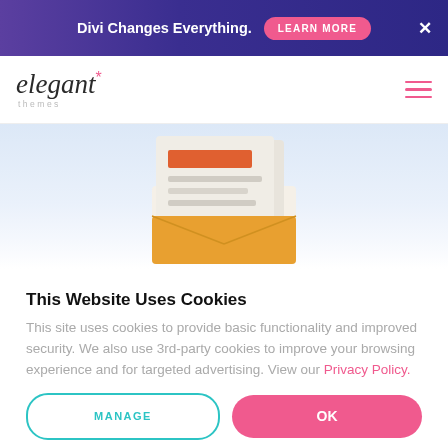Divi Changes Everything. LEARN MORE ✕
[Figure (logo): Elegant Themes logo with italic serif text and pink asterisk, and hamburger menu icon]
[Figure (illustration): Newsletter/email illustration showing a document with an orange header bar and gray lines coming out of an envelope, on a light blue background]
This Website Uses Cookies
This site uses cookies to provide basic functionality and improved security. We also use 3rd-party cookies to improve your browsing experience and for targeted advertising. View our Privacy Policy.
MANAGE | OK